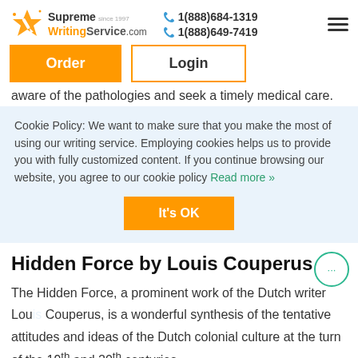Supreme WritingService.com | 1(888)684-1319 | 1(888)649-7419
Order | Login
aware of the pathologies and seek a timely medical care.
Cookie Policy: We want to make sure that you make the most of using our writing service. Employing cookies helps us to provide you with fully customized content. If you continue browsing our website, you agree to our cookie policy Read more »
It's OK
Hidden Force by Louis Couperus
The Hidden Force, a prominent work of the Dutch writer Louis Couperus, is a wonderful synthesis of the tentative attitudes and ideas of the Dutch colonial culture at the turn of the 19th and 20th centuries.